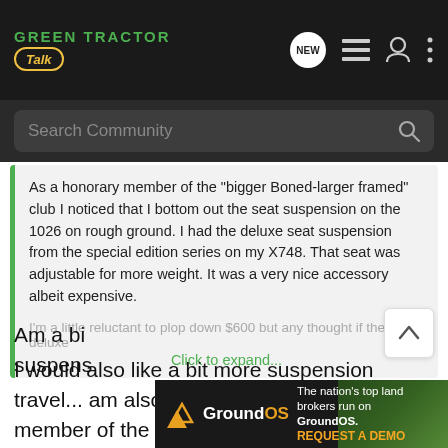[Figure (screenshot): Green Tractor Talk forum website header with logo, navigation icons (NEW bubble, list, user, more), and search bar]
As a honorary member of the "bigger Boned-larger framed" club I noticed that I bottom out the seat suspension on the 1026 on rough ground. I had the deluxe seat suspension from the special edition series on my X748. That seat was adjustable for more weight. It was a very nice accessory albeit expensive.
I'm a little reluctant to plop down $600 but any thought if the deluxe
Click to expand...
I would also like a bit more suspension travel... am also bottoming out, even as a member of the smaller boned-smaller framed club! Glad you posted this... perhaps someone can help.
Am a bi... suspens...
[Figure (screenshot): GroundOS advertisement banner: 'The nation's top land brokers run on GroundOS. REQUEST A DEMO']